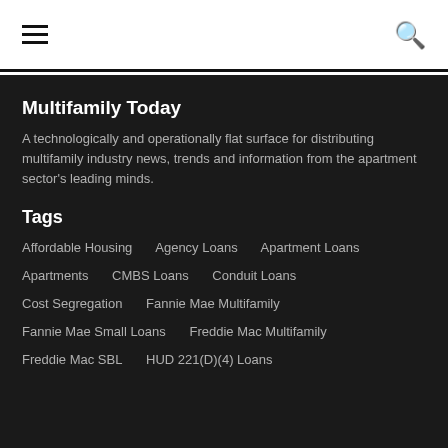≡ (menu icon) and 🔍 (search icon)
Multifamily Today
A technologically and operationally flat surface for distributing multifamily industry news, trends and information from the apartment sector's leading minds.
Tags
Affordable Housing
Agency Loans
Apartment Loans
Apartments
CMBS Loans
Conduit Loans
Cost Segregation
Fannie Mae Multifamily
Fannie Mae Small Loans
Freddie Mac Multifamily
Freddie Mac SBL
HUD 221(D)(4) Loans